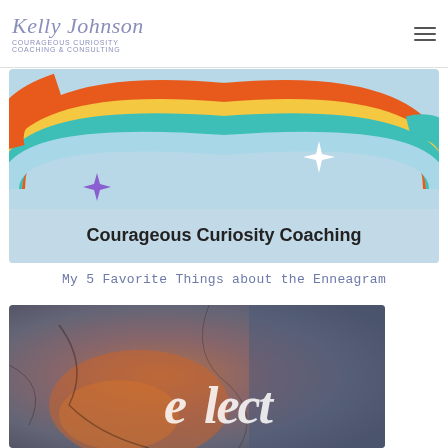Kelly Johnson — Courageous Curiosity Coaching & Consulting
[Figure (illustration): Colorful rainbow illustration with light blue background, orange/red, yellow, teal rainbow arcs, a purple sparkle star on the left and a white sparkle star on the right, with text 'Courageous Curiosity Coaching' at the bottom center]
My 5 Favorite Things about the Enneagram
[Figure (photo): Textured stone/mineral surface with orange and blue tones, with cursive white text partially visible reading something ending in '-lect']